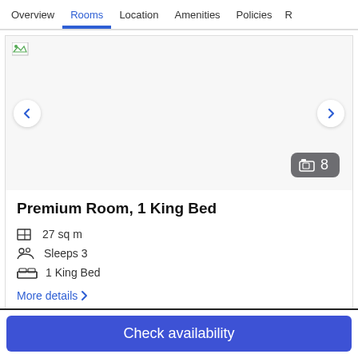Overview  Rooms  Location  Amenities  Policies  R
[Figure (screenshot): Hotel room image carousel placeholder with left/right navigation arrows and a photo count badge showing 8 photos]
Premium Room, 1 King Bed
27 sq m
Sleeps 3
1 King Bed
More details >
Check availability